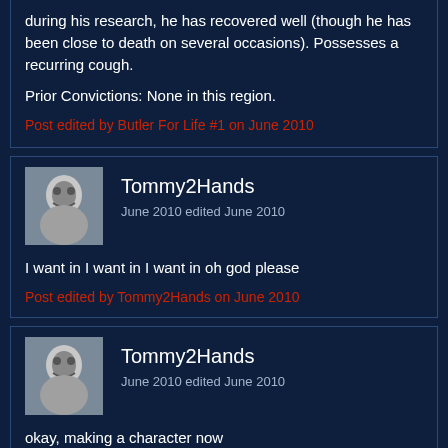during his research, he has recovered well (though he has been close to death on several occasions). Possesses a recurring cough.

Prior Convictions: None in this region.
Post edited by Butler For Life #1 on June 2010
Tommy2Hands
June 2010 edited June 2010
I want in I want in I want in oh god please
Post edited by Tommy2Hands on June 2010
Tommy2Hands
June 2010 edited June 2010
okay, making a character now

maybe